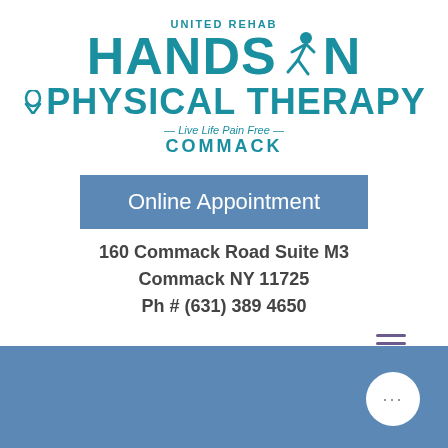[Figure (logo): United Rehab Hands On Physical Therapy logo with runner icon, tagline Live Life Pain Free, location Commack, teal color scheme]
Online Appointment
160 Commack Road Suite M3
Commack NY 11725
Ph # (631) 389 4650
[Figure (other): Hamburger menu icon with three horizontal lines in purple]
[Figure (other): Blue banner footer with white ellipsis button]